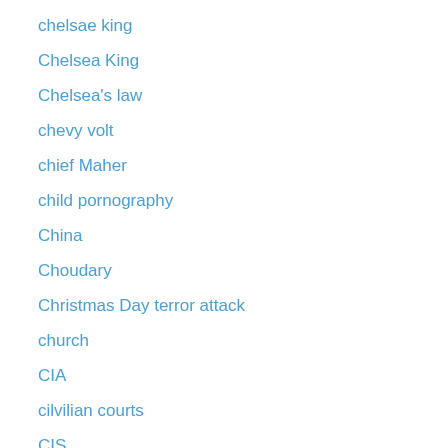chelsae king
Chelsea King
Chelsea's law
chevy volt
chief Maher
child pornography
China
Choudary
Christmas Day terror attack
church
CIA
cilvilian courts
CIS
city council
civil rights
climategate
Clinton
clinton machine
coburn
college scholarships for Latinos